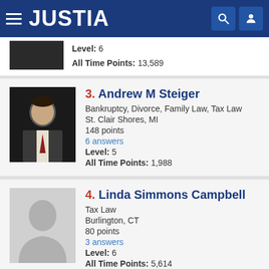JUSTIA
Level: 6
All Time Points: 13,589
3. Andrew M Steiger
Bankruptcy, Divorce, Family Law, Tax Law
St. Clair Shores, MI
148 points
6 answers
Level: 5
All Time Points: 1,988
4. Linda Simmons Campbell
Tax Law
Burlington, CT
80 points
3 answers
Level: 6
All Time Points: 5,614